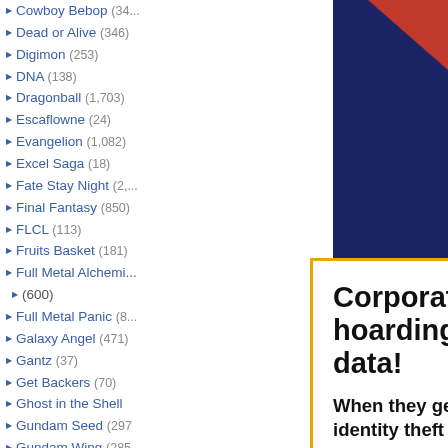Cowboy Bebop (34...)
Dead or Alive (346)
Digimon (253)
DNA (138)
Dragonball (1,703)
Escaflowne (24)
Evangelion (1,082)
Excel Saga (18)
Fate Stay Night (2,...)
Final Fantasy (850)
FLCL (113)
Fruits Basket (181)
Full Metal Alchemi... (600)
Full Metal Panic (8...)
Galaxy Angel (471)
Gantz (37)
Get Backers (70)
Ghost in the Shell
Gundam Seed (297)
Gundam Wing (285...)
Gunslinger Girl (59...)
Hack Sign (78)
Haibane Renmei (4...)
Hamtaro (50)
Hello Kitty (299)
Hellsing (341)
Howls Moving Cas... (60)
Hyper Police (9)
[Figure (screenshot): Advertisement popup overlay. Headline: 'Corporations are recklessly hoarding your sensitive data!' Subtext: 'When they get hacked, you're at risk of identity theft or worse!' CTA section with orange border: 'Check if you've been compromised:' with email input and FREE SCAN button.]
[Figure (photo): Partial dark blue image visible on right side with red corner graphic at top right.]
o R
at